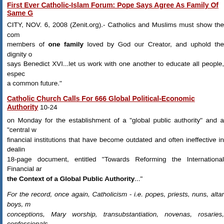First Ever Catholic-Islam Forum: Pope Says Agree As Family Of Same G...
CITY, NOV. 6, 2008 (Zenit.org).- Catholics and Muslims must show the com... members of one family loved by God our Creator, and uphold the dignity o... says Benedict XVI...let us work with one another to educate all people, espec... a common future."
Catholic Church Calls For 666 Global Political-Economic Authority 10-24... on Monday for the establishment of a "global public authority" and a "central w... financial institutions that have become outdated and often ineffective in dealin... 18-page document, entitled "Towards Reforming the International Financial ar... the Context of a Global Public Authority"..."
For the record, once again, Catholicism - i.e. popes, priests, nuns, altar boys, m... conceptions, Mary worship, transubstantiation, novenas, rosaries, confessionals... stations-of-the-cross, purgatory, infant baptism...all these things and so much more - are inventions of men, are in fact all against scripture, which then follows that the... Lord Jesus Christ himself, which is to say then that they are 'anti-christ'. Hard pi... absolutely true.
Come out of her, my people...  Rev. 18:4
tom m. at 3:14 PM